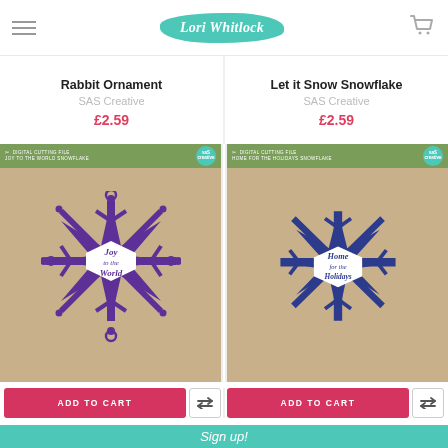Lori Whitlock
Rabbit Ornament
SAS Creative
£2.59
Let it Snow Snowflake
SAS Creative
£2.59
[Figure (photo): Product package showing a purple snowflake cut file design with 'Joy to the World' text in the center, on a kraft paper background with green header band and teal SAS Creative badge]
[Figure (photo): Product package showing a dark blue snowflake cut file design with 'Home for the Holidays' text in the center, on a kraft paper background with green header band and teal SAS Creative badge]
ADD TO CART
ADD TO CART
Sign up!